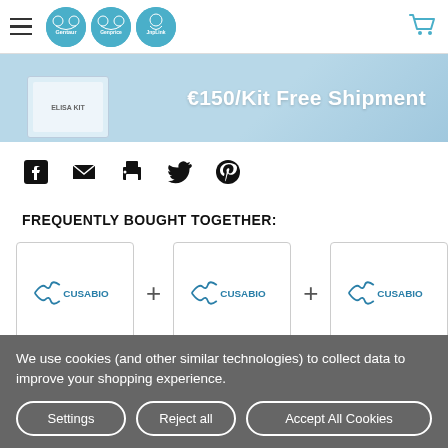Navigation header with hamburger menu, Gentaur/Genprice/JnpLink logos, and shopping cart icon
[Figure (screenshot): Banner showing ELISA KIT box image and text €150/Kit Free Shipment on light blue background]
[Figure (infographic): Social sharing icons: Facebook, Email, Print, Twitter, Pinterest]
FREQUENTLY BOUGHT TOGETHER:
[Figure (infographic): Three Cusabio product cards arranged horizontally with plus signs between them and a trailing plus sign]
SELECT ALL   ADD SELECTED TO CART
We use cookies (and other similar technologies) to collect data to improve your shopping experience.
Settings   Reject all   Accept All Cookies